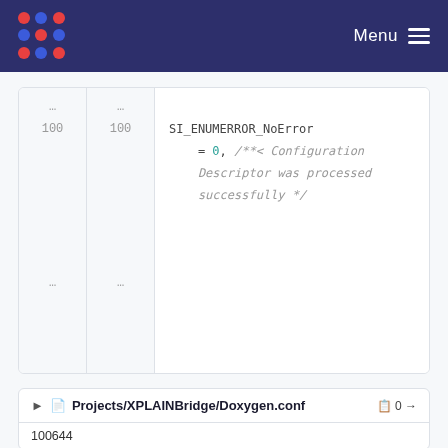Menu
[Figure (screenshot): Code diff view showing line numbers 100 and ellipsis rows, with code: SI_ENUMERROR_NoError = 0, /**< Configuration Descriptor was processed successfully */]
Projects/XPLAINBridge/Doxygen.conf  0 → 100644
This diff is collapsed. Click to expand it.
Please register or sign in to comment